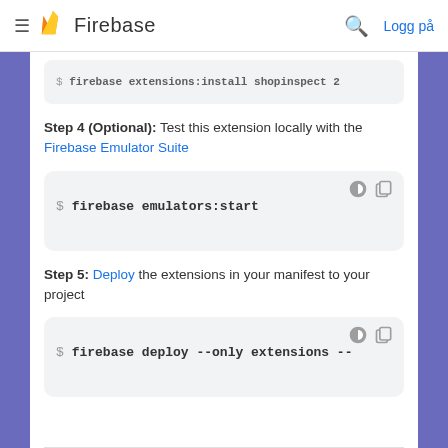Firebase
$ firebase extensions:install shopinspect 2
Step 4 (Optional): Test this extension locally with the Firebase Emulator Suite
$ firebase emulators:start
Step 5: Deploy the extensions in your manifest to your project
$ firebase deploy --only extensions --